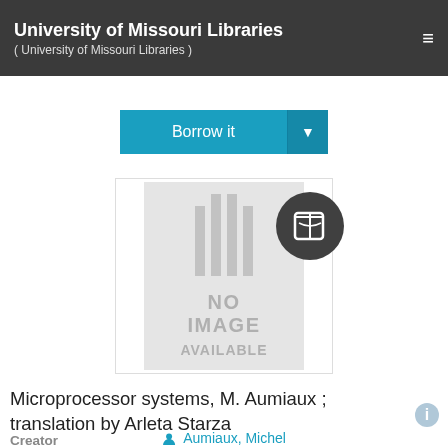University of Missouri Libraries ( University of Missouri Libraries )
[Figure (screenshot): Borrow it button with dropdown arrow, teal/cyan color]
[Figure (illustration): Book cover placeholder showing NO IMAGE AVAILABLE with library pillar logo and book badge icon]
Microprocessor systems, M. Aumiaux ; translation by Arleta Starza
Creator
Aumiaux, Michel